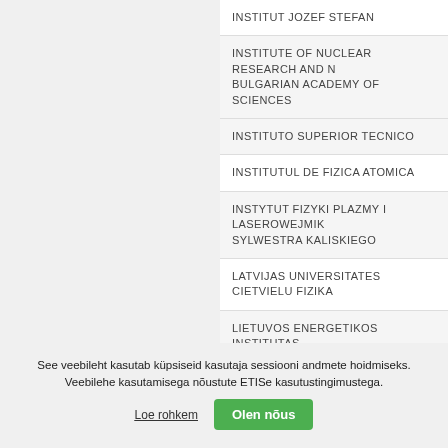INSTITUT JOZEF STEFAN
INSTITUTE OF NUCLEAR RESEARCH AND N... BULGARIAN ACADEMY OF SCIENCES
INSTITUTO SUPERIOR TECNICO
INSTITUTUL DE FIZICA ATOMICA
INSTYTUT FIZYKI PLAZMY I LASEROWEJMIK... SYLWESTRA KALISKIEGO
LATVIJAS UNIVERSITATES CIETVIELU FIZIKA...
LIETUVOS ENERGETIKOS INSTITUTAS
MAX PLANCK GESELLSCHAFT ZUR FOERD... WISSENSCHAFTEN
NATIONAL CENTER FOR SCIENTIFIC RESEA...
... CENTER KHARKOV IN... AND TECHNOLOGY
See veebileht kasutab küpsiseid kasutaja sessiooni andmete hoidmiseks. Veebilehe kasutamisega nõustute ETISe kasutustingimustega.
Loe rohkem
Olen nõus